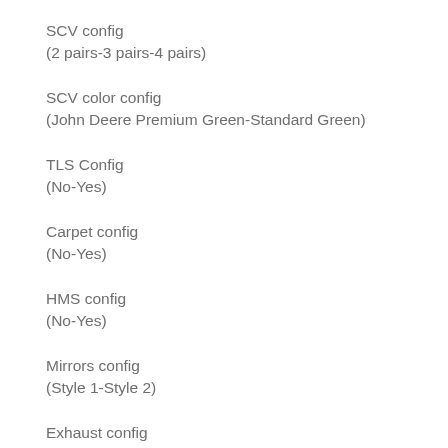SCV config
(2 pairs-3 pairs-4 pairs)
SCV color config
(John Deere Premium Green-Standard Green)
TLS Config
(No-Yes)
Carpet config
(No-Yes)
HMS config
(No-Yes)
Mirrors config
(Style 1-Style 2)
Exhaust config
(Type 1-Type 2)